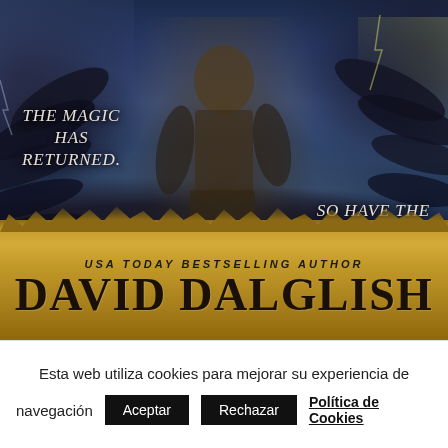[Figure (illustration): Fantasy book cover art showing a winged armored figure from behind facing monsters, with dramatic stormy sky lighting, fog, rocks, and vegetation. Parchment-style banner at bottom.]
THE MAGIC HAS RETURNED.
SO HAVE THE MONSTERS.
USA TODAY BESTSELLING AUTHOR
DAVID DALGLISH
Esta web utiliza cookies para mejorar su experiencia de navegación
Aceptar
Rechazar
Política de Cookies